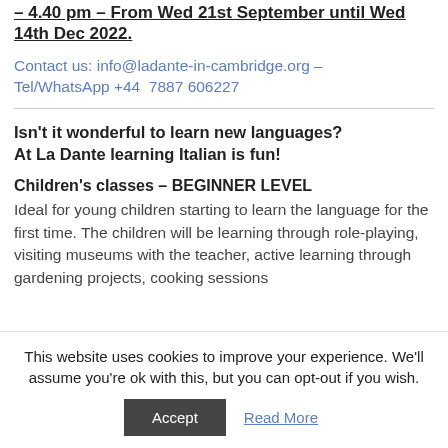– 4.40 pm – From Wed 21st September until Wed 14th Dec 2022.
Contact us: info@ladante-in-cambridge.org – Tel/WhatsApp +44  7887 606227
Isn't it wonderful to learn new languages? At La Dante learning Italian is fun!
Children's classes – BEGINNER LEVEL
Ideal for young children starting to learn the language for the first time. The children will be learning through role-playing, visiting museums with the teacher, active learning through gardening projects, cooking sessions
This website uses cookies to improve your experience. We'll assume you're ok with this, but you can opt-out if you wish.